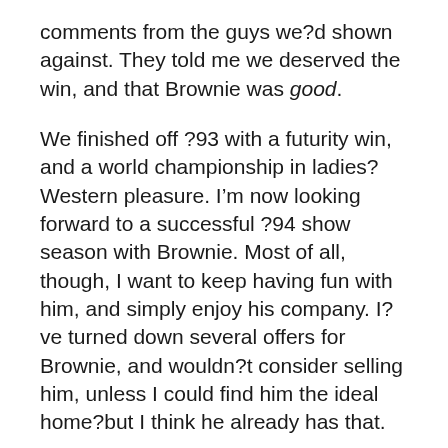comments from the guys we?d shown against. They told me we deserved the win, and that Brownie was good.
We finished off ?93 with a futurity win, and a world championship in ladies? Western pleasure. I’m now looking forward to a successful ?94 show season with Brownie. Most of all, though, I want to keep having fun with him, and simply enjoy his company. I?ve turned down several offers for Brownie, and wouldn?t consider selling him, unless I could find him the ideal home?but I think he already has that.
[Figure (infographic): Three social media share buttons: Facebook (blue), Pinterest (red), Twitter (blue)]